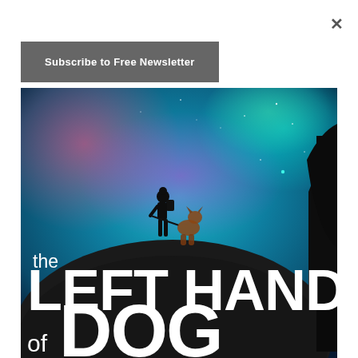×
Subscribe to Free Newsletter
[Figure (illustration): Book cover illustration showing silhouettes of a person with a backpack and a sitting dog on top of a large rock, against a vivid night sky with colorful aurora/nebula clouds in teal, pink, and purple. Large white bold text reads 'the LEFT HAND of DOG'. Tree silhouettes visible at right edge.]